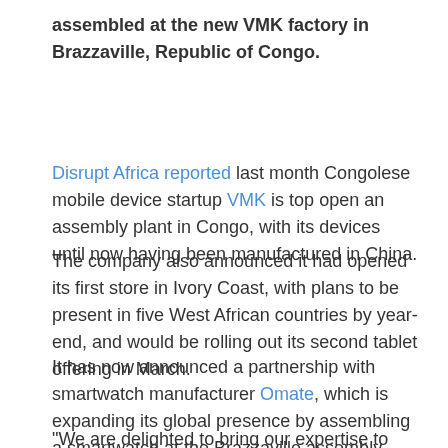assembled at the new VMK factory in Brazzaville, Republic of Congo.
Disrupt Africa reported last month Congolese mobile device startup VMK is top open an assembly plant in Congo, with its devices until now having been manufactured in China.
The company also announced it had opened its first store in Ivory Coast, with plans to be present in five West African countries by year-end, and would be rolling out its second tablet offering in March.
It has now announced a partnership with smartwatch manufacturer Omate, which is expanding its global presence by assembling a smartwatch at the Brazzaville assembly plant from May.
“We are delighted to bring our expertise to offer affordable